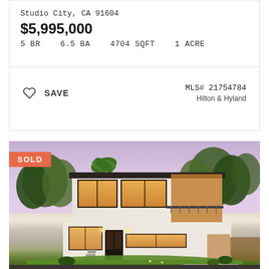Studio City, CA 91604
$5,995,000
5 BR   6.5 BA   4704 SQFT   1 ACRE
SAVE
MLS# 21754784
Hilton & Hyland
[Figure (photo): Exterior photo of a modern two-story white stucco luxury home at dusk with warm interior lighting, wood accents, large windows, manicured lawn, and trees in background. A SOLD badge appears in the upper left corner.]